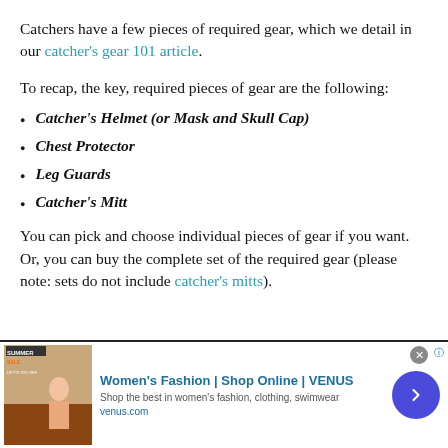Catchers have a few pieces of required gear, which we detail in our catcher's gear 101 article.
To recap, the key, required pieces of gear are the following:
Catcher's Helmet (or Mask and Skull Cap)
Chest Protector
Leg Guards
Catcher's Mitt
You can pick and choose individual pieces of gear if you want. Or, you can buy the complete set of the required gear (please note: sets do not include catcher's mitts).
[Figure (infographic): Advertisement banner for Women's Fashion | Shop Online | VENUS. Shows ad image on left, text 'Women's Fashion | Shop Online | VENUS', 'Shop the best in women's fashion, clothing, swimwear', 'venus.com', and a blue circular arrow button on right.]